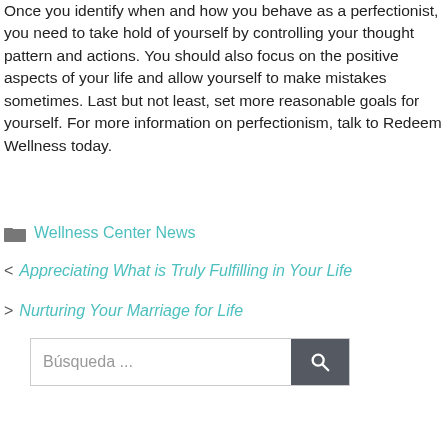Once you identify when and how you behave as a perfectionist, you need to take hold of yourself by controlling your thought pattern and actions. You should also focus on the positive aspects of your life and allow yourself to make mistakes sometimes. Last but not least, set more reasonable goals for yourself. For more information on perfectionism, talk to Redeem Wellness today.
Wellness Center News
Appreciating What is Truly Fulfilling in Your Life
Nurturing Your Marriage for Life
Búsqueda ...